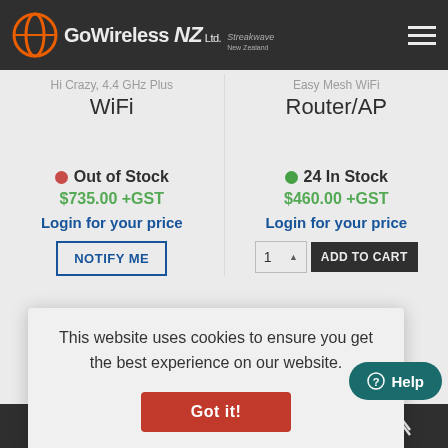Go Wireless NZ Ltd. Streakwave
WiFi
Router/AP
Out of Stock
$735.00 +GST
Login for your price
24 In Stock
$460.00 +GST
Login for your price
NOTIFY ME
ADD TO CART
This website uses cookies to ensure you get the best experience on our website.
Got it!
Help
Search | Wishlist | Compare | Cart | Top